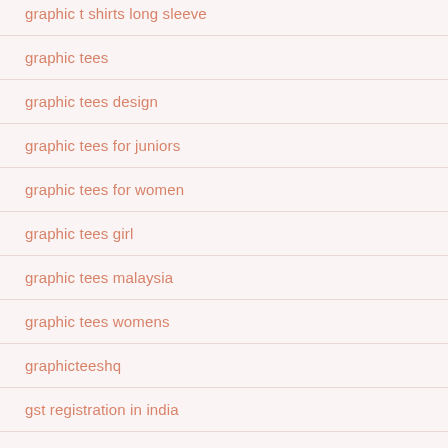graphic t shirts long sleeve
graphic tees
graphic tees design
graphic tees for juniors
graphic tees for women
graphic tees girl
graphic tees malaysia
graphic tees womens
graphicteeshq
gst registration in india
hampton bay ceiling fans